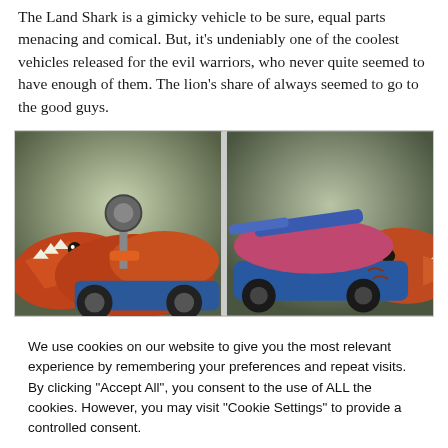The Land Shark is a gimicky vehicle to be sure, equal parts menacing and comical. But, it's undeniably one of the coolest vehicles released for the evil warriors, who never quite seemed to have enough of them. The lion's share of always seemed to go to the good guys.
[Figure (photo): Two photos side by side of the Land Shark toy vehicle — a shark-headed vehicle in red/orange with wheels and mounted gear on top (left photo), and blue/pink side view showing the shark head and cannon (right photo).]
We use cookies on our website to give you the most relevant experience by remembering your preferences and repeat visits. By clicking "Accept All", you consent to the use of ALL the cookies. However, you may visit "Cookie Settings" to provide a controlled consent.